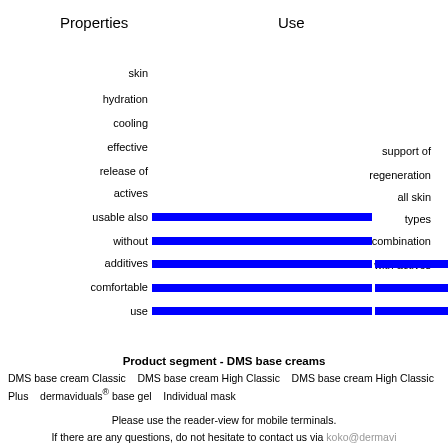[Figure (bar-chart): Properties vs Use]
Product segment - DMS base creams
DMS base cream Classic    DMS base cream High Classic    DMS base cream High Classic Plus    dermaviduals® base gel    Individual mask
Please use the reader-view for mobile terminals.
If there are any questions, do not hesitate to contact us via koko@dermavi…
This applies to any misprint or other relevant mistakes on this page to…